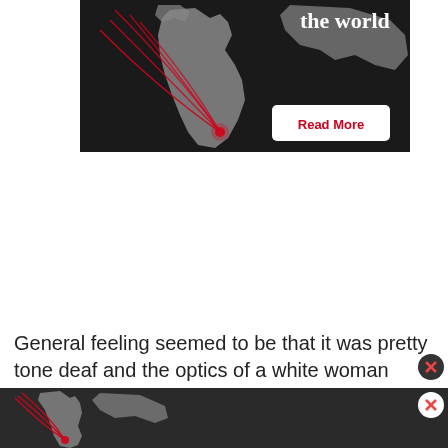[Figure (infographic): Dark background map advertisement showing Africa and parts of the world with red arc lines emanating from southern Africa, white text 'the world' at top right, and a 'Read More' button in a white rounded rectangle]
General feeling seemed to be that it was pretty tone deaf and the optics of a white woman encouraging her black son to dance in tribute to murdered black people were, off.
Previou
[Figure (infographic): Bottom advertisement bar with dark background, red circle icon with bird logo, 'Read More' white button, and partial map image on the right with a close X button]